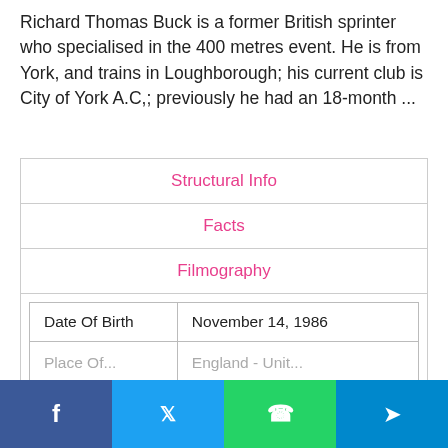Richard Thomas Buck is a former British sprinter who specialised in the 400 metres event. He is from York, and trains in Loughborough; his current club is City of York A.C,; previously he had an 18-month ...
| Structural Info |  |
| Facts |  |
| Filmography |  |
| Date Of Birth | November 14, 1986 |
| Place Of... | England (inferred) |
f  |  Twitter  |  WhatsApp  |  Telegram